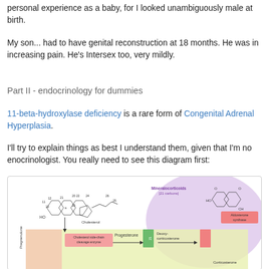personal experience as a baby, for I looked unambiguously male at birth.
My son... had to have genital reconstruction at 18 months. He was in increasing pain. He's Intersex too, very mildly.
Part II - endocrinology for dummies
11-beta-hydroxylase deficiency is a rare form of Congenital Adrenal Hyperplasia.
I'll try to explain things as best I understand them, given that I'm no enocrinologist. You really need to see this diagram first:
[Figure (schematic): Biochemical pathway diagram showing steroid hormone synthesis from Cholesterol through Progesterone, Deoxycorticosterone, and Corticosterone to Aldosterone, with enzyme labels including Cholesterol side-chain cleavage enzyme and Aldosterone synthase, color-coded regions for Mineralocorticoids (21 carbons) in purple and yellow/green zones.]